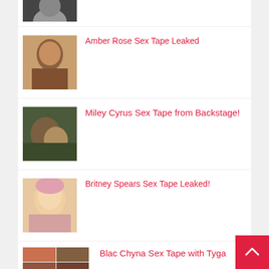[Figure (photo): Partial thumbnail of a person, black and white, cropped at top of page]
Amber Rose Sex Tape Leaked
Miley Cyrus Sex Tape from Backstage!
Britney Spears Sex Tape Leaked!
Blac Chyna Sex Tape with Tyga